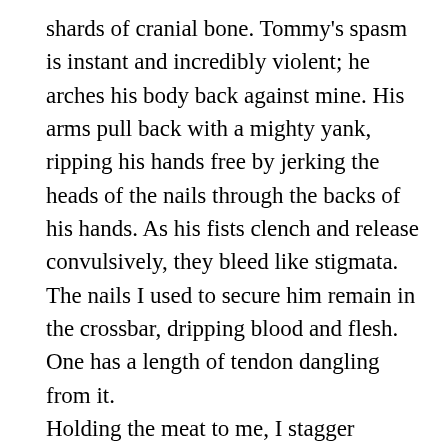shards of cranial bone. Tommy's spasm is instant and incredibly violent; he arches his body back against mine. His arms pull back with a mighty yank, ripping his hands free by jerking the heads of the nails through the backs of his hands. As his fists clench and release convulsively, they bleed like stigmata. The nails I used to secure him remain in the crossbar, dripping blood and flesh. One has a length of tendon dangling from it.
Holding the meat to me, I stagger backwards and fall into the recliner. My cock never leaves the pig's ass as I pull him down on top of me. I lay back and blast another nail into